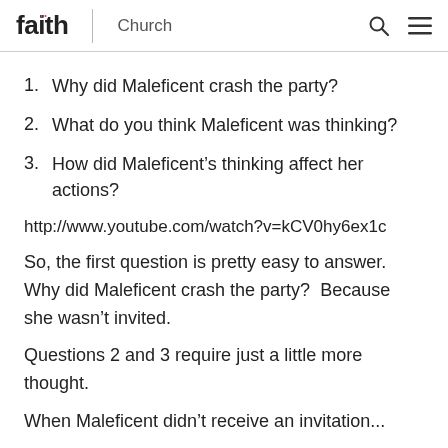faith Church
1.  Why did Maleficent crash the party?
2.  What do you think Maleficent was thinking?
3.  How did Maleficent’s thinking affect her actions?
http://www.youtube.com/watch?v=kCV0hy6ex1c
So, the first question is pretty easy to answer.  Why did Maleficent crash the party?  Because she wasn’t invited.
Questions 2 and 3 require just a little more thought. When Maleficent didn’t receive an invitation...